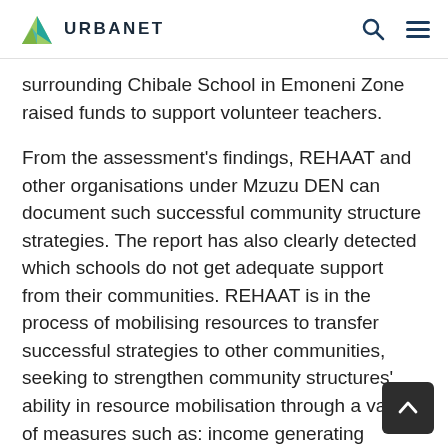URBANET
surrounding Chibale School in Emoneni Zone raised funds to support volunteer teachers.
From the assessment's findings, REHAAT and other organisations under Mzuzu DEN can document such successful community structure strategies. The report has also clearly detected which schools do not get adequate support from their communities. REHAAT is in the process of mobilising resources to transfer successful strategies to other communities, seeking to strengthen community structures' ability in resource mobilisation through a variety of measures such as: income generating activities,